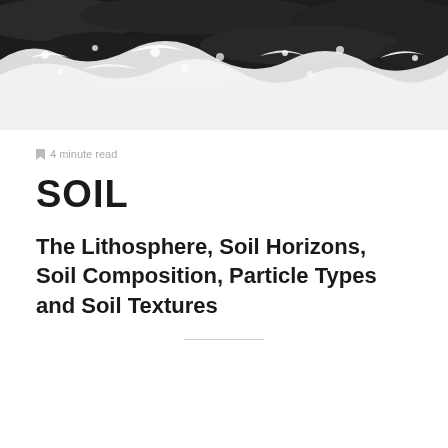[Figure (photo): Aerial or close-up photograph of ocean waves crashing on dark rocks, black and white / grayscale tones, white sea foam visible]
4 minute read
SOIL
The Lithosphere, Soil Horizons, Soil Composition, Particle Types and Soil Textures